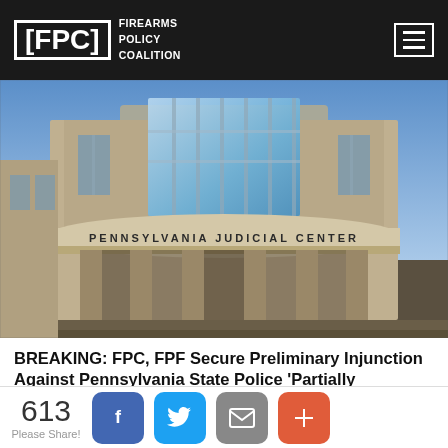FPC - FIREARMS POLICY COALITION
[Figure (photo): Exterior photograph of the Pennsylvania Judicial Center building, showing its curved Art Deco facade with tall glass windows and stone columns. The building's name 'PENNSYLVANIA JUDICIAL CENTER' is inscribed on the curved entryway.]
BREAKING: FPC, FPF Secure Preliminary Injunction Against Pennsylvania State Police 'Partially Manufactured Receivers' Policy Following Attorney General Josh Shapiro's
613 Please Share!